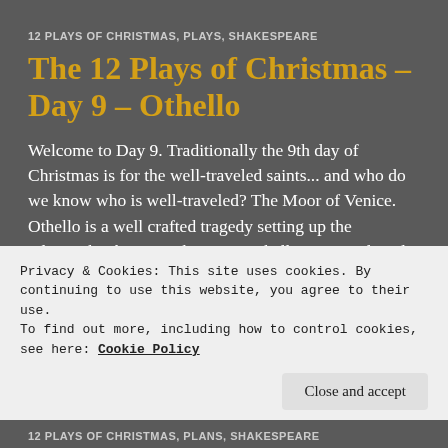12 PLAYS OF CHRISTMAS, PLAYS, SHAKESPEARE
The 12 Plays of Christmas – Day 9 – Othello
Welcome to Day 9.  Traditionally the 9th day of Christmas is for the well-traveled saints... and who do we know who is well-traveled?  The Moor of Venice.  Othello is a well crafted tragedy setting up the relationship between the Moor Othello, a general, and his fair wife, Desdemona.  It doesn't help that they initially ran off in secret to get married, or that Othello
Privacy & Cookies: This site uses cookies. By continuing to use this website, you agree to their use.
To find out more, including how to control cookies, see here: Cookie Policy
12 PLAYS OF CHRISTMAS, PLANS, SHAKESPEARE